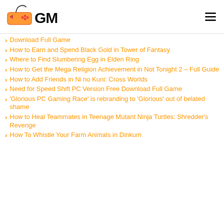[Figure (logo): GamersMinute (GM) logo with orange game controller and GM text]
Download Full Game
How to Earn and Spend Black Gold in Tower of Fantasy
Where to Find Slumbering Egg in Elden Ring
How to Get the Mega Religion Achievement in Not Tonight 2 – Full Guide
How to Add Friends in Ni no Kuni: Cross Worlds
Need for Speed Shift PC Version Free Download Full Game
'Glorious PC Gaming Race' is rebranding to 'Glorious' out of belated shame
How to Heal Teammates in Teenage Mutant Ninja Turtles: Shredder's Revenge
How To Whistle Your Farm Animals in Dinkum